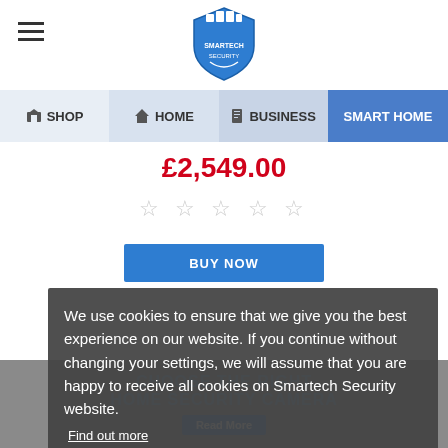Smartech Security logo and hamburger menu
SHOP | HOME | BUSINESS | SMART HOME
£2,549.00
☆ ☆ ☆ ☆ ☆
BUY NOW
We use cookies to ensure that we give you the best experience on our website. If you continue without changing your settings, we will assume that you are happy to receive all cookies on Smartech Security website.
Find out more
Continue
CHOOSE THE RIGHT HOME SECURITY CAMERA
Read More